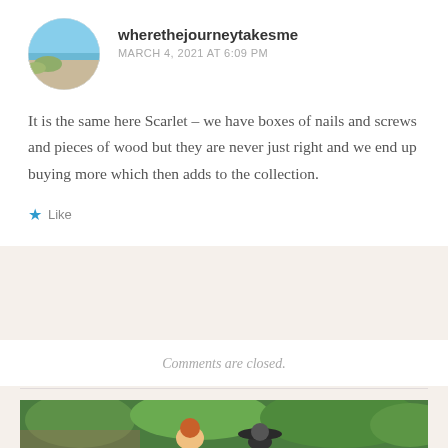[Figure (photo): Circular avatar image showing a coastal/beach scene with blue sky and sandy dunes]
wherethejourneytakesme
MARCH 4, 2021 AT 6:09 PM
It is the same here Scarlet – we have boxes of nails and screws and pieces of wood but they are never just right and we end up buying more which then adds to the collection.
Like
Comments are closed.
[Figure (photo): Outdoor garden photo showing a woman with red hair and a figure wearing a wide-brimmed dark hat, surrounded by green foliage]